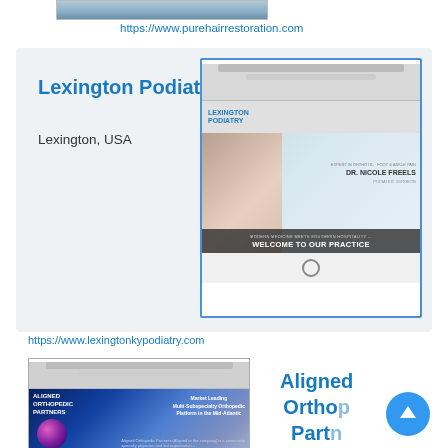[Figure (screenshot): Partial screenshot of a medical/hair restoration website at top of page]
https://www.purehairrestoration.com
[Figure (screenshot): Screenshot of Lexington Podiatry website showing Dr. Nicole Freels with 'Welcome to Our Practice' banner]
Lexington Podiatry
Lexington, USA
https://www.lexingtonkypodiatry.com
[Figure (screenshot): Screenshot of Aligned Orthopedic Partners website showing blue orb graphic and Market Leading Multi-Subspecialty Orthopedic Platform in the Mid-Atlantic text]
Aligned Orthopedic Partners